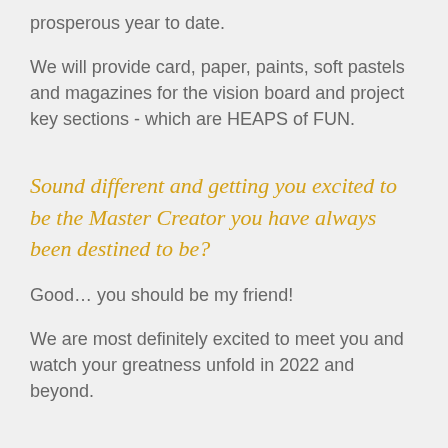prosperous year to date.
We will provide card, paper, paints, soft pastels and magazines for the vision board and project key sections - which are HEAPS of FUN.
Sound different and getting you excited to be the Master Creator you have always been destined to be?
Good… you should be my friend!
We are most definitely excited to meet you and watch your greatness unfold in 2022 and beyond.